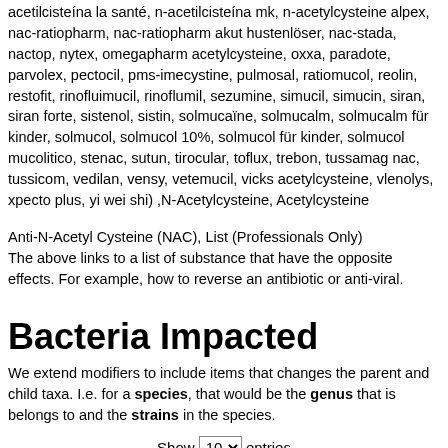acetilcisteína la santé, n-acetilcisteína mk, n-acetylcysteine alpex, nac-ratiopharm, nac-ratiopharm akut hustenlöser, nac-stada, nactop, nytex, omegapharm acetylcysteine, oxxa, paradote, parvolex, pectocil, pms-imecystine, pulmosal, ratiomucol, reolin, restofit, rinofluimucil, rinoflumil, sezumine, simucil, simucin, siran, siran forte, sistenol, sistin, solmucaïne, solmucalm, solmucalm für kinder, solmucol, solmucol 10%, solmucol für kinder, solmucol mucolitico, stenac, sutun, tirocular, toflux, trebon, tussamag nac, tussicom, vedilan, vensy, vetemucil, vicks acetylcysteine, vlenolys, xpecto plus, yi wei shi) ,N-Acetylcysteine, Acetylcysteine
Anti-N-Acetyl Cysteine (NAC), List (Professionals Only)
The above links to a list of substance that have the opposite effects. For example, how to reverse an antibiotic or anti-viral.
Bacteria Impacted
We extend modifiers to include items that changes the parent and child taxa. I.e. for a species, that would be the genus that is belongs to and the strains in the species.
Show 10 entries